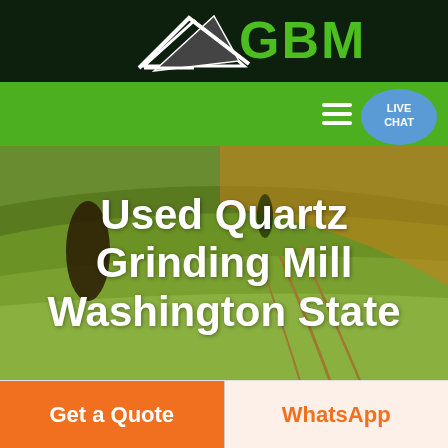[Figure (logo): GBM company logo with white arrow/swoosh graphic and green GBM text on dark background]
[Figure (screenshot): Green navigation bar with white hamburger menu icon and a teal/blue live chat speech bubble icon with text LIVE CHAT]
[Figure (photo): Aerial photo of green farmland/agricultural fields with warm orange-brown tones, with standing stone or tree silhouette on left side]
Used Quartz Grinding Mill Washington State
Get a Quote
WhatsApp